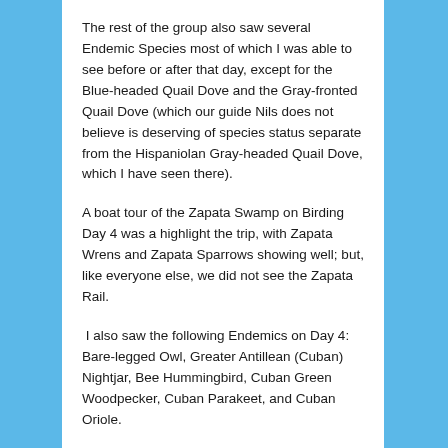The rest of the group also saw several Endemic Species most of which I was able to see before or after that day, except for the Blue-headed Quail Dove and the Gray-fronted Quail Dove (which our guide Nils does not believe is deserving of species status separate from the Hispaniolan Gray-headed Quail Dove, which I have seen there).
A boat tour of the Zapata Swamp on Birding Day 4 was a highlight the trip, with Zapata Wrens and Zapata Sparrows showing well; but, like everyone else, we did not see the Zapata Rail.
I also saw the following Endemics on Day 4:  Bare-legged Owl, Greater Antillean (Cuban) Nightjar, Bee Hummingbird, Cuban Green Woodpecker, Cuban Parakeet, and Cuban Oriole.
Day 5 was spent on the road north across to the northern coast, to Cayo Coco (“Key” Coco).  The ride was long.  It terminated with a drive across a 35-mile causeway built